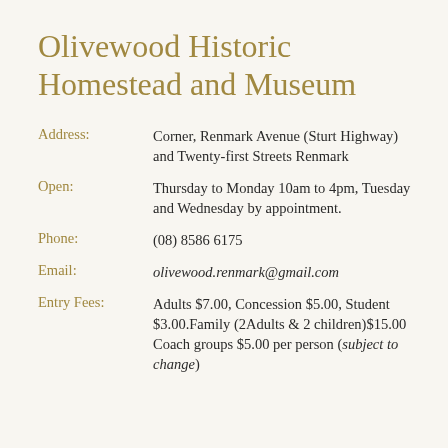Olivewood Historic Homestead and Museum
Address: Corner, Renmark Avenue (Sturt Highway) and Twenty-first Streets Renmark
Open: Thursday to Monday 10am to 4pm, Tuesday and Wednesday by appointment.
Phone: (08) 8586 6175
Email: olivewood.renmark@gmail.com
Entry Fees: Adults $7.00, Concession $5.00, Student $3.00.Family (2Adults & 2 children)$15.00 Coach groups $5.00 per person (subject to change)